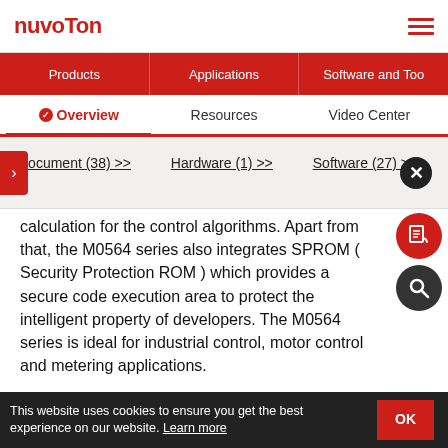nuvoTon
Products | Applications | Software and Tools
Overview | Resources | Video Center
Document (38) >> | Hardware (1) >> | Software (27) >>
calculation for the control algorithms. Apart from that, the M0564 series also integrates SPROM ( Security Protection ROM ) which provides a secure code execution area to protect the intelligent property of developers. The M0564 series is ideal for industrial control, motor control and metering applications.
The M0564 series supports the wide voltage range... operation temperature from -40 to 85 °C, up to 256 Kbytes of Flash memory, 20 Kbytes of
This website uses cookies to ensure you get the best experience on our website. Learn more